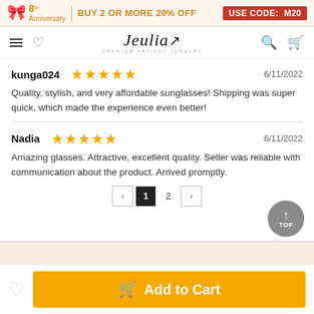8th Anniversary | BUY 2 OR MORE 20% OFF USE CODE: M20
[Figure (screenshot): Jeulia Premium Artisan Jewelry navigation bar with hamburger menu, heart icon, logo, search and cart icons]
kunga024 ★★★★★ 6/11/2022
Quality, stylish, and very affordable sunglasses! Shipping was super quick, which made the experience even better!
Nadia ★★★★★ 6/11/2022
Amazing glasses. Attractive, excellent quality. Seller was reliable with communication about the product. Arrived promptly.